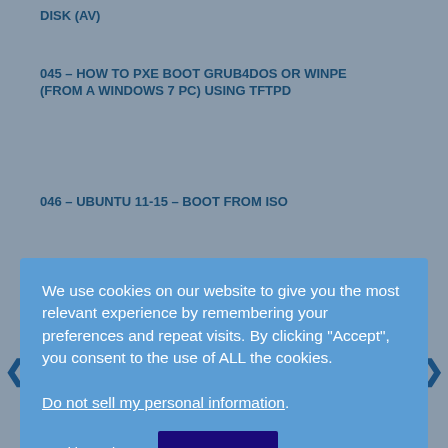DISK (AV)
045 – HOW TO PXE BOOT GRUB4DOS OR WINPE (FROM A WINDOWS 7 PC) USING TFTPD
046 – UBUNTU 11-15 – BOOT FROM ISO
We use cookies on our website to give you the most relevant experience by remembering your preferences and repeat visits. By clicking "Accept", you consent to the use of ALL the cookies. Do not sell my personal information.
049 – CONTROL YOUR NOTEBOOK/MEDIA CENTRE PC FROM YOUR MAIN PC WITH SYNERGY
050 – PREPARE A BOOTABLE USB DRIVE USING LINUX COMMANDS